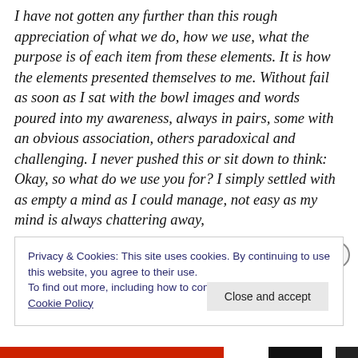I have not gotten any further than this rough appreciation of what we do, how we use, what the purpose is of each item from these elements. It is how the elements presented themselves to me. Without fail as soon as I sat with the bowl images and words poured into my awareness, always in pairs, some with an obvious association, others paradoxical and challenging. I never pushed this or sit down to think: Okay, so what do we use you for? I simply settled with as empty a mind as I could manage, not easy as my mind is always chattering away,
Privacy & Cookies: This site uses cookies. By continuing to use this website, you agree to their use.
To find out more, including how to control cookies, see here: Cookie Policy